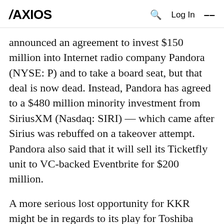AXIOS | Q Log In ≡
announced an agreement to invest $150 million into Internet radio company Pandora (NYSE: P) and to take a board seat, but that deal is now dead. Instead, Pandora has agreed to a $480 million minority investment from SiriusXM (Nasdaq: SIRI) — which came after Sirius was rebuffed on a takeover attempt. Pandora also said that it will sell its Ticketfly unit to VC-backed Eventbrite for $200 million.
A more serious lost opportunity for KKR might be in regards to its play for Toshiba Corp.'s $18 billion chips unit, with an overnight report from Reuters that consortium lead Japan Innovation Network Corp. plans to replace KKR